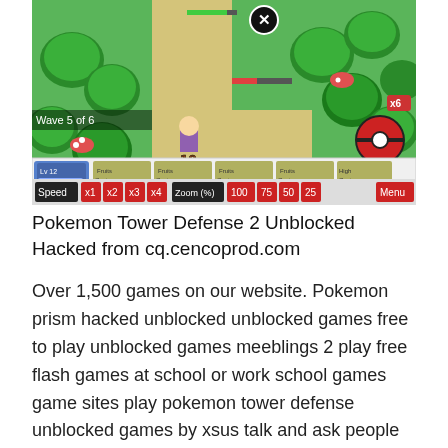[Figure (screenshot): Screenshot of Pokemon Tower Defense 2 game showing a top-down RPG-style map with a trainer character, trees, mushrooms, wave counter 'Wave 5 of 6', speed controls (x1 x2 x3 x4), zoom controls (100 75 50 25), and a Menu button. The game UI shows battle options including 'Capture Pokemon' cards and a Pokeball icon.]
Pokemon Tower Defense 2 Unblocked Hacked from cq.cencoprod.com
Over 1,500 games on our website. Pokemon prism hacked unblocked unblocked games free to play unblocked games meeblings 2 play free flash games at school or work school games game sites play pokemon tower defense unblocked games by xsus talk and ask people there about the whereabouts of the pokmon when you see them then